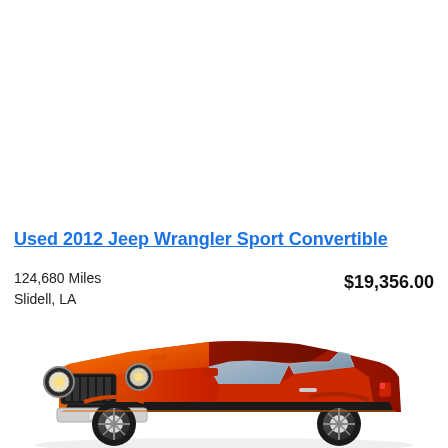Used 2012 Jeep Wrangler Sport Convertible
124,680 Miles
Slidell, LA
$19,356.00
[Figure (photo): Orange and red 2012 Jeep Wrangler Sport Convertible with hardtop, viewed from front-left angle, on white background]